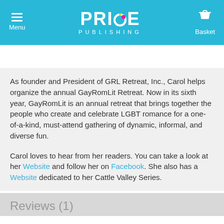Menu | PRIDE PUBLISHING | Basket
Search
As founder and President of GRL Retreat, Inc., Carol helps organize the annual GayRomLit Retreat. Now in its sixth year, GayRomLit is an annual retreat that brings together the people who create and celebrate LGBT romance for a one-of-a-kind, must-attend gathering of dynamic, informal, and diverse fun.
Carol loves to hear from her readers. You can take a look at her Website and follow her on Facebook. She also has a Website dedicated to her Cattle Valley Series.
Reviews (1)
▲ Click to toggle